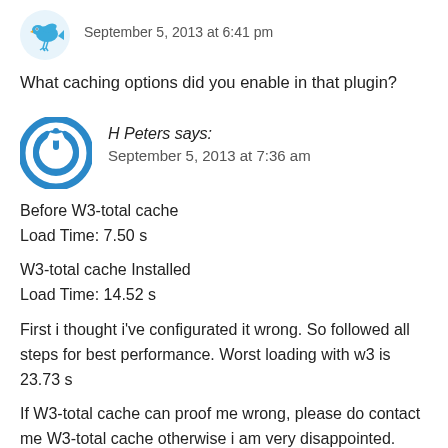[Figure (illustration): Blue bird avatar icon for commenter at top]
September 5, 2013 at 6:41 pm
What caching options did you enable in that plugin?
[Figure (illustration): Blue circular power button avatar icon for H Peters]
H Peters says:
September 5, 2013 at 7:36 am
Before W3-total cache
Load Time: 7.50 s
W3-total cache Installed
Load Time: 14.52 s
First i thought i've configurated it wrong. So followed all steps for best performance. Worst loading with w3 is 23.73 s
If W3-total cache can proof me wrong, please do contact me W3-total cache otherwise i am very disappointed.
I've uninstalled this plugin because without it my website